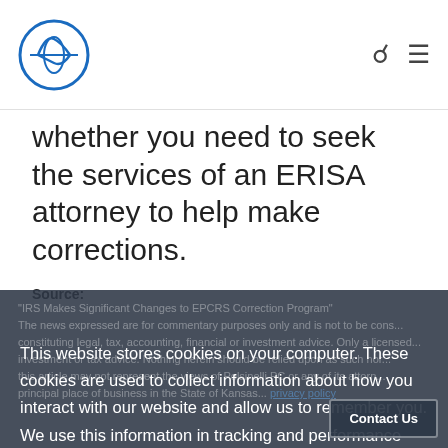[Logo] [Search icon] [Menu icon]
whether you need to seek the services of an ERISA attorney to help make corrections.
Source:
This website stores cookies on your computer. These cookies are used to collect information about how you interact with our website and allow us to remember you. We use this information in tracking and performance tools, and in order to improve and customize your browsing experience. To find out more about the cookies we use, see our privacy policy.
Accept